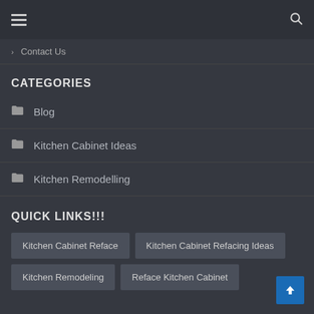≡ [hamburger menu] [search icon]
Contact Us
CATEGORIES
Blog
Kitchen Cabinet Ideas
Kitchen Remodelling
QUICK LINKS!!!
Kitchen Cabinet Reface
Kitchen Cabinet Refacing Ideas
Kitchen Remodeling
Reface Kitchen Cabinet